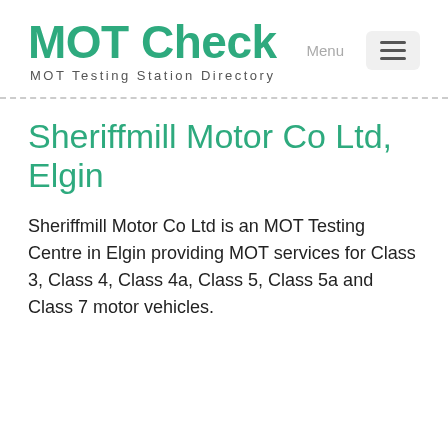MOT Check
MOT Testing Station Directory
Sheriffmill Motor Co Ltd, Elgin
Sheriffmill Motor Co Ltd is an MOT Testing Centre in Elgin providing MOT services for Class 3, Class 4, Class 4a, Class 5, Class 5a and Class 7 motor vehicles.